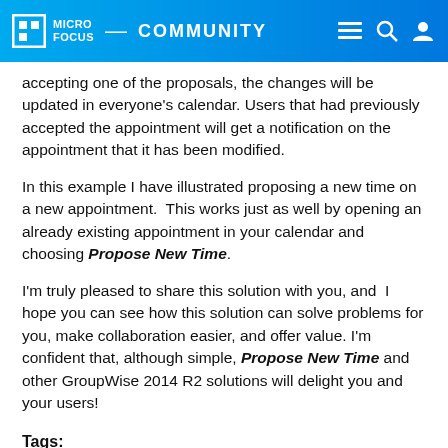Micro Focus Community
accepting one of the proposals, the changes will be updated in everyone's calendar. Users that had previously accepted the appointment will get a notification on the appointment that it has been modified.
In this example I have illustrated proposing a new time on a new appointment.  This works just as well by opening an already existing appointment in your calendar and choosing Propose New Time.
I'm truly pleased to share this solution with you, and  I hope you can see how this solution can solve problems for you, make collaboration easier, and offer value. I'm confident that, although simple, Propose New Time and other GroupWise 2014 R2 solutions will delight you and your users!
Tags:
Groupwise
Cornell
GroupWise 2014 R2